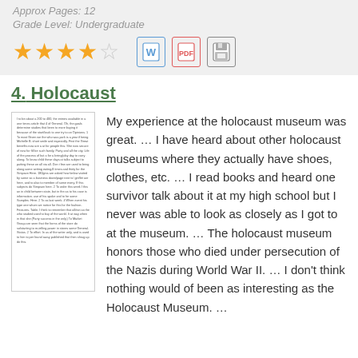Approx Pages: 12
Grade Level: Undergraduate
[Figure (other): 4 filled gold stars and 1 empty star rating, plus Word, PDF, and save icons]
4. Holocaust
[Figure (other): Small thumbnail preview of a document page with dense text]
My experience at the holocaust museum was great. … I have heard about other holocaust museums where they actually have shoes, clothes, etc. … I read books and heard one survivor talk about it at my high school but I never was able to look as closely as I got to at the museum. … The holocaust museum honors those who died under persecution of the Nazis during World War II. … I don't think nothing would of been as interesting as the Holocaust Museum. …